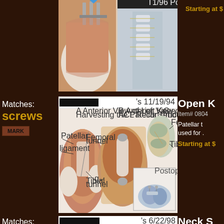[Figure (photo): Partial view of a surgical procedure image with medical illustrations of a spine/back surgery with screws, partially cropped at top]
Starting at $
Matches: screws
[Figure (illustration): Open Knee Surgery illustration dated 11/19/94 showing anterior view of left knee removing the patellar tendon and ACL reconstruction with multiple surgical views]
Open K
Item# 0804
Patellar t used for .
Starting at $
Matches: screws
[Figure (illustration): Neck Surgery illustration dated 6/22/98 showing C5-6 disc surgery with anterior neck view and placement of screws]
Neck S
Item# 0803
C5-6 disc placement screws.
Starting at $